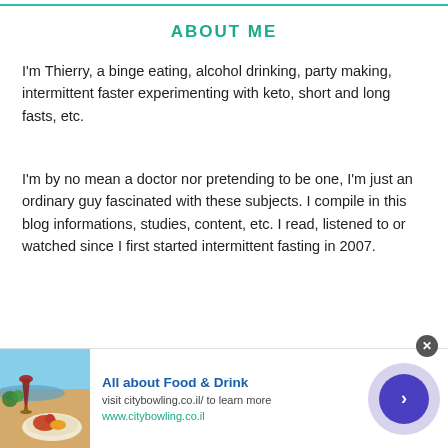ABOUT ME
I'm Thierry, a binge eating, alcohol drinking, party making, intermittent faster experimenting with keto, short and long fasts, etc.
I'm by no mean a doctor nor pretending to be one, I'm just an ordinary guy fascinated with these subjects. I compile in this blog informations, studies, content, etc. I read, listened to or watched since I first started intermittent fasting in 2007.
[Figure (infographic): Advertisement banner with food and drink image showing a glass of red wine and a plate of food on a beach, with text 'All about Food & Drink', 'visit citybowling.co.il/ to learn more', and 'www.citybowling.co.il']